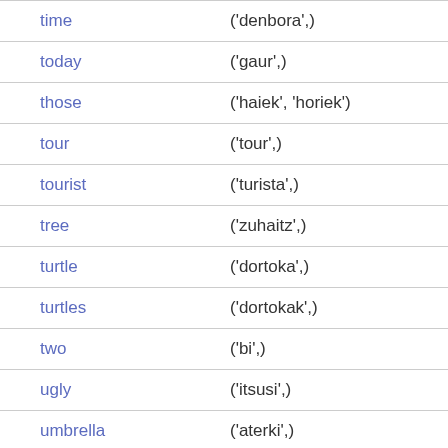| English | Basque |
| --- | --- |
| time | ('denbora',) |
| today | ('gaur',) |
| those | ('haiek', 'horiek') |
| tour | ('tour',) |
| tourist | ('turista',) |
| tree | ('zuhaitz',) |
| turtle | ('dortoka',) |
| turtles | ('dortokak',) |
| two | ('bi',) |
| ugly | ('itsusi',) |
| umbrella | ('aterki',) |